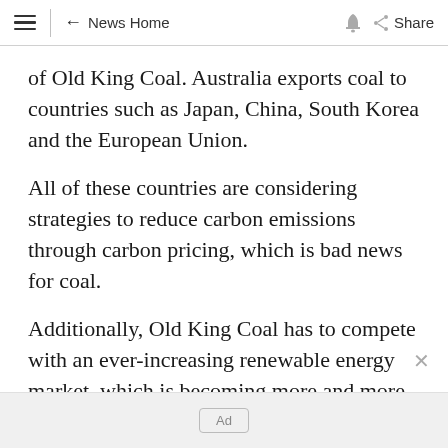≡  ← News Home  🔔  ⬡ Share
of Old King Coal. Australia exports coal to countries such as Japan, China, South Korea and the European Union.
All of these countries are considering strategies to reduce carbon emissions through carbon pricing, which is bad news for coal.
Additionally, Old King Coal has to compete with an ever-increasing renewable energy market, which is becoming more and more
Ad